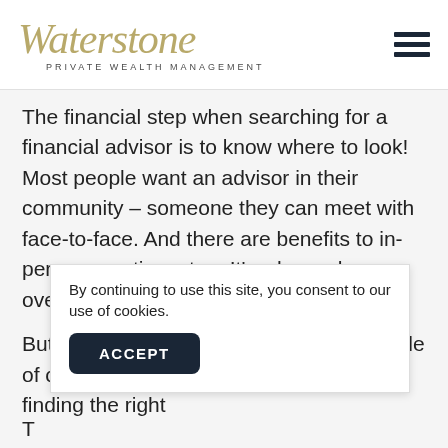[Figure (logo): Waterstone Private Wealth Management logo in gold/olive script with subtitle]
The financial step when searching for a financial advisor is to know where to look! Most people want an advisor in their community – someone they can meet with face-to-face. And there are benefits to in-person meetings, too. It's why we have over 130 locations across the country.
But we also have clients located far outside of our offices. Because when it comes to finding the right a...
By continuing to use this site, you consent to our use of cookies.
ACCEPT
T...